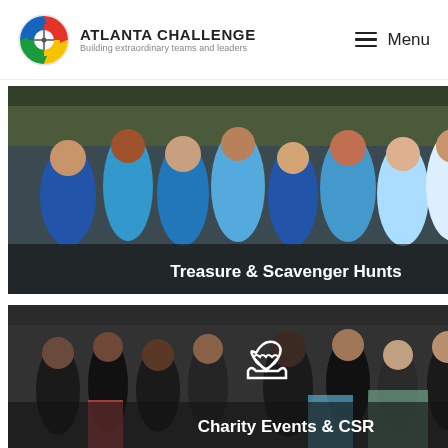Atlanta Challenge — Building extraordinary teams and leaders | Menu
[Figure (photo): Group of people in blue t-shirts celebrating outdoors at a team building event, labeled 'Treasure & Scavenger Hunts']
[Figure (photo): Indoor charity event with speaker, audience, toys and children's items on display, labeled 'Charity Events & CSR']